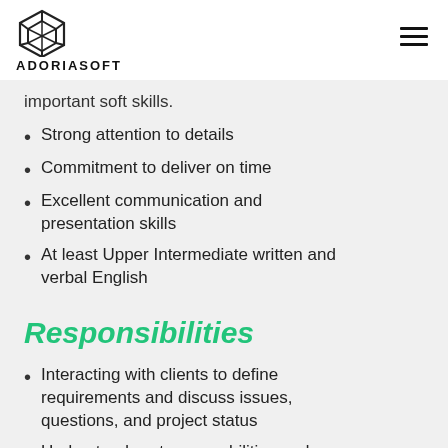ADORIASOFT
important soft skills.
Strong attention to details
Commitment to deliver on time
Excellent communication and presentation skills
At least Upper Intermediate written and verbal English
Responsibilities
Interacting with clients to define requirements and discuss issues, questions, and project status
Understand system capabilities and